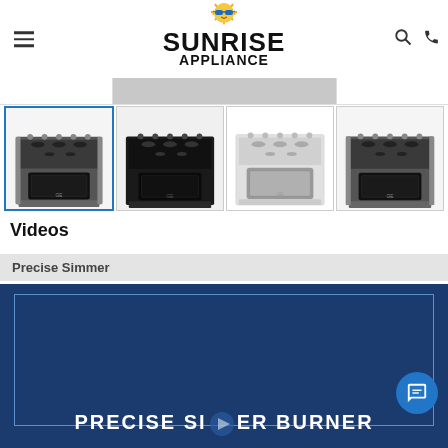[Figure (logo): Sunrise Appliance logo with sun mascot wearing sunglasses, bold black text]
[Figure (photo): Color swatch selector bar with white, gray, and white options]
[Figure (photo): Four product thumbnail images of gas ranges: stainless (selected/blue border), black, white, stainless]
Videos
Precise Simmer
[Figure (screenshot): Video thumbnail with dark blue background showing text 'PRECISE SIMMER BURNER' with a hand/arm graphic]